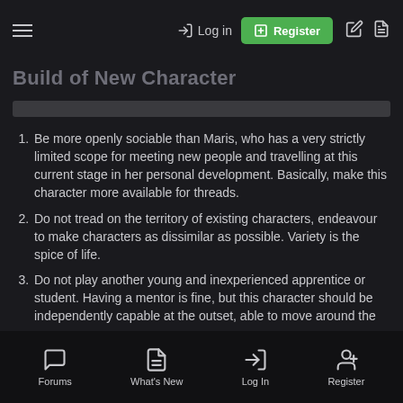Log in | Register
Build of New Character
Be more openly sociable than Maris, who has a very strictly limited scope for meeting new people and travelling at this current stage in her personal development. Basically, make this character more available for threads.
Do not tread on the territory of existing characters, endeavour to make characters as dissimilar as possible. Variety is the spice of life.
Do not play another young and inexperienced apprentice or student. Having a mentor is fine, but this character should be independently capable at the outset, able to move around the galaxy map and if possible.
Do not write a Jedi or Sith. NFU is most likely but Force Sensitivity shouldn't be written off.
Do not write a Chevin. I repeat, do not write a Chevin.
Ensure character ties are in place with at least a couple of writers
Forums | What's New | Log In | Register